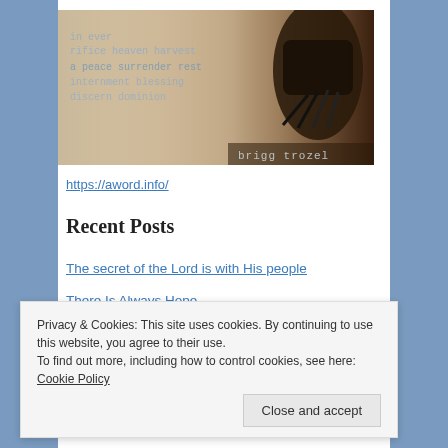[Figure (photo): Sepia-toned photo of a typewriter with typed words visible on paper, and the text 'a word' and 'brigg trozel' visible. The image is the header/logo for the 'a word' website.]
https://aword.info/
Recent Posts
The secret of the Lord is with His people
There Is Always Hope
The Will to Do — A Word in Season
The Diligent Search
Privacy & Cookies: This site uses cookies. By continuing to use this website, you agree to their use.
To find out more, including how to control cookies, see here: Cookie Policy
Close and accept